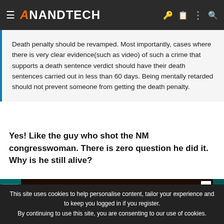AnandTech
Death penalty should be revamped. Most importantly, cases where there is very clear evidence(such as video) of such a crime that supports a death sentence verdict should have their death sentences carried out in less than 60 days. Being mentally retarded should not prevent someone from getting the death penalty.
Yes! Like the guy who shot the NM congresswoman. There is zero question he did it. Why is he still alive?
[Figure (screenshot): AnandTech advertisement banner with orange A logo on dark background]
This site uses cookies to help personalise content, tailor your experience and to keep you logged in if you register. By continuing to use this site, you are consenting to our use of cookies.